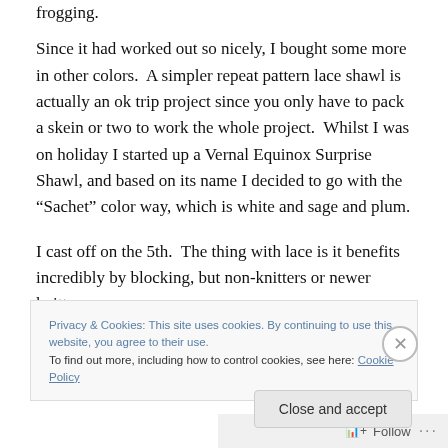frogging.
Since it had worked out so nicely, I bought some more in other colors.  A simpler repeat pattern lace shawl is actually an ok trip project since you only have to pack a skein or two to work the whole project.  Whilst I was on holiday I started up a Vernal Equinox Surprise Shawl, and based on its name I decided to go with the “Sachet” color way, which is white and sage and plum.
I cast off on the 5th.  The thing with lace is it benefits incredibly by blocking, but non-knitters or newer knitters
Privacy & Cookies: This site uses cookies. By continuing to use this website, you agree to their use.
To find out more, including how to control cookies, see here: Cookie Policy
Close and accept
Follow ...